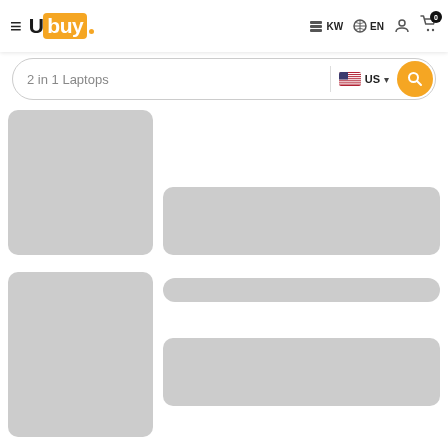Ubuy — KW | EN | User | Cart (0)
2 in 1 Laptops — US search bar
[Figure (screenshot): Skeleton loading state for product listing page showing two product card placeholders with grey image boxes and grey content blocks]
[Figure (screenshot): Second skeleton product card placeholder with grey image box and two grey content blocks]